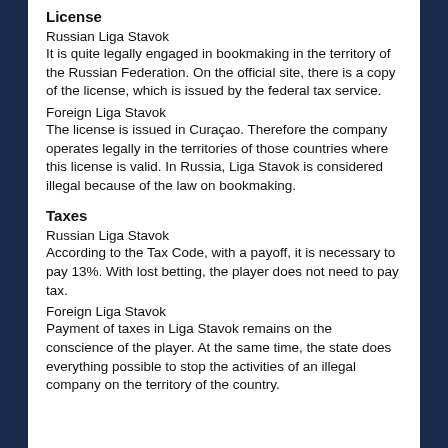License
Russian Liga Stavok
It is quite legally engaged in bookmaking in the territory of the Russian Federation. On the official site, there is a copy of the license, which is issued by the federal tax service.
Foreign Liga Stavok
The license is issued in Curaçao. Therefore the company operates legally in the territories of those countries where this license is valid. In Russia, Liga Stavok is considered illegal because of the law on bookmaking.
Taxes
Russian Liga Stavok
According to the Tax Code, with a payoff, it is necessary to pay 13%. With lost betting, the player does not need to pay tax.
Foreign Liga Stavok
Payment of taxes in Liga Stavok remains on the conscience of the player. At the same time, the state does everything possible to stop the activities of an illegal company on the territory of the country.